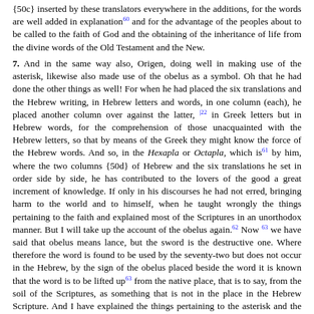{50c} inserted by these translators everywhere in the additions, for the words are well added in explanation [60] and for the advantage of the peoples about to be called to the faith of God and the obtaining of the inheritance of life from the divine words of the Old Testament and the New.
7. And in the same way also, Origen, doing well in making use of the asterisk, likewise also made use of the obelus as a symbol. Oh that he had done the other things as well! For when he had placed the six translations and the Hebrew writing, in Hebrew letters and words, in one column (each), he placed another column over against the latter, [122] in Greek letters but in Hebrew words, for the comprehension of those unacquainted with the Hebrew letters, so that by means of the Greek they might know the force of the Hebrew words. And so, in the Hexapla or Octapla, which is [61] by him, where the two columns {50d} of Hebrew and the six translations he set in order side by side, he has contributed to the lovers of the good a great increment of knowledge. If only in his discourses he had not erred, bringing harm to the world and to himself, when he taught wrongly the things pertaining to the faith and explained most of the Scriptures in an unorthodox manner. But I will take up the account of the obelus again. [62] Now [63] we have said that obelus means lance, but the sword is the destructive one. Where therefore the word is found to be used by the seventy-two but does not occur in the Hebrew, by the sign of the obelus placed beside the word it is known that the word is to be lifted up [63] from the native place, that is to say, from the soil of the Scriptures, as something that is not in the place in the Hebrew Scripture. And I have explained the things pertaining to the asterisk and the obelus.
8. [64] Concerning the lemniscus. [64] But I must tell the things pertaining to the lemniscus ÷ and the hypolemniscus @. {51a}The lemniscus, as the sign is here...